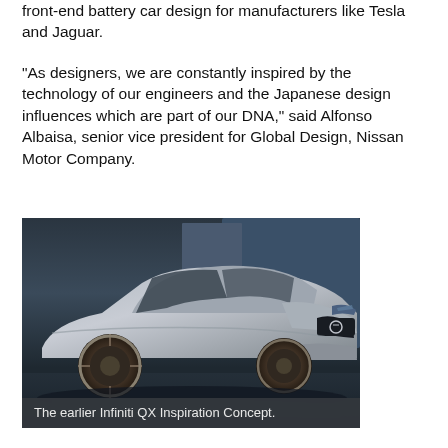front-end battery car design for manufacturers like Tesla and Jaguar.
“As designers, we are constantly inspired by the technology of our engineers and the Japanese design influences which are part of our DNA,” said Alfonso Albaisa, senior vice president for Global Design, Nissan Motor Company.
[Figure (photo): Photo of the Infiniti QX Inspiration Concept car, a silver/grey luxury SUV concept vehicle on a dark display surface, viewed from a front three-quarter angle.]
The earlier Infiniti QX Inspiration Concept.